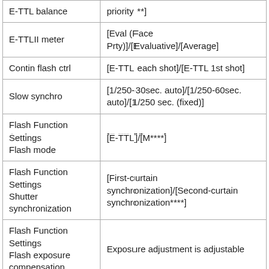| E-TTL balance | priority **] |
| E-TTLII meter | [Eval (Face Prty)]/[Evaluative]/[Average] |
| Contin flash ctrl | [E-TTL each shot]/[E-TTL 1st shot] |
| Slow synchro | [1/250-30sec. auto]/[1/250-60sec. auto]/[1/250 sec. (fixed)] |
| Flash Function Settings
Flash mode | [E-TTL]/[M****] |
| Flash Function Settings
Shutter synchronization | [First-curtain synchronization]/[Second-curtain synchronization****] |
| Flash Function Settings
Flash exposure compensation | Exposure adjustment is adjustable |
*When selecting [Enable], shutter speed is limited up to 1/250sec. regardless of INON strobe power setting. When not using a strobe, set to [Disable] not to